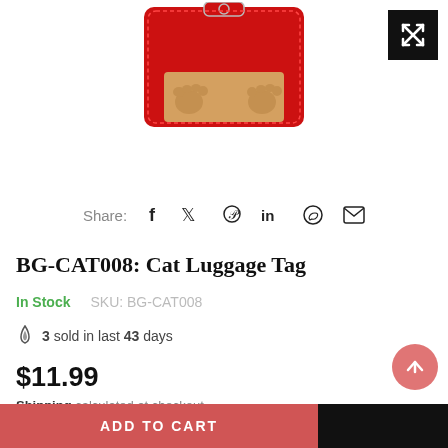[Figure (photo): Product photo of a red cat luggage tag with a cat face design, shown partially at top of page]
[Figure (screenshot): Expand/fullscreen button (black square with X arrows icon) in top-right corner]
Share: f  Twitter  Pinterest  in  WhatsApp  Email
BG-CAT008: Cat Luggage Tag
In Stock    SKU: BG-CAT008
3 sold in last 43 days
$11.99
Shipping calculated at checkout.
ADD TO CART